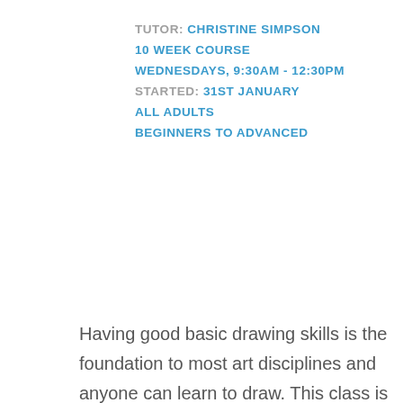TUTOR: CHRISTINE SIMPSON
10 WEEK COURSE
WEDNESDAYS, 9:30AM - 12:30PM
STARTED: 31ST JANUARY
ALL ADULTS
BEGINNERS TO ADVANCED
Having good basic drawing skills is the foundation to most art disciplines and anyone can learn to draw. This class is suitable for beginners to advanced students wanting to discover their hidden drawing skills or develop their own technique further using a variety of drawing mediums. Each session will introduce the student to new drawing techniques developing essential observational skills and learning about form,